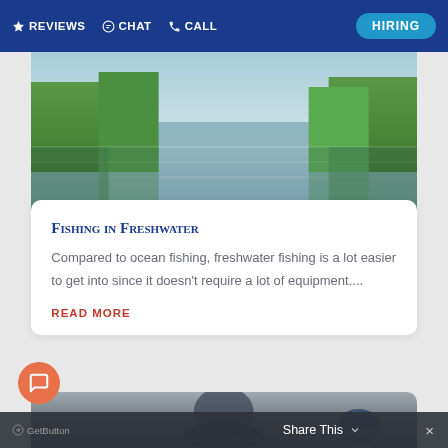REVIEWS  CHAT  CALL  HIRING
[Figure (photo): A calm freshwater lake with green trees and vegetation reflected in the still water surface, viewed from above.]
Fishing in Freshwater
Compared to ocean fishing, freshwater fishing is a lot easier to get into since it doesn't require a lot of equipment....
READ MORE
[Figure (photo): A woman holding up a large fish she caught, smiling, with an overcast sky and another person in a blue hat visible in the background.]
GetButton  Share This  ×